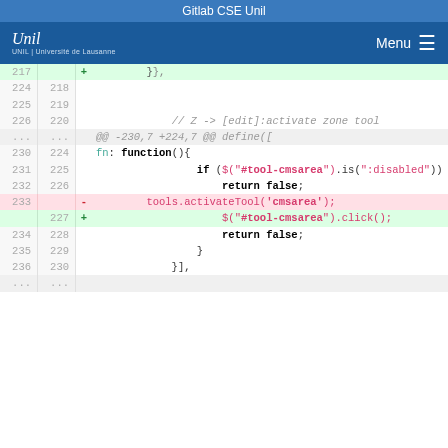Gitlab CSE Unil
[Figure (screenshot): Navigation bar with UNIL logo on left and Menu hamburger icon on right, blue background]
Code diff view showing lines 217-236 of a JavaScript file. Removed line 233: tools.activateTool('cmsarea'); Added line 227: $("#tool-cmsarea").click(); Context includes fn: function(){ if ($("#tool-cmsarea").is(":disabled")) return false; return false; } }],